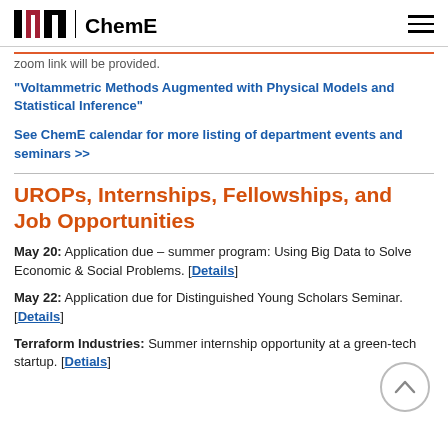MIT ChemE
zoom link will be provided.
"Voltammetric Methods Augmented with Physical Models and Statistical Inference"
See ChemE calendar for more listing of department events and seminars >>
UROPs, Internships, Fellowships, and Job Opportunities
May 20: Application due – summer program: Using Big Data to Solve Economic & Social Problems. [Details]
May 22: Application due for Distinguished Young Scholars Seminar. [Details]
Terraform Industries: Summer internship opportunity at a green-tech startup. [Detials]